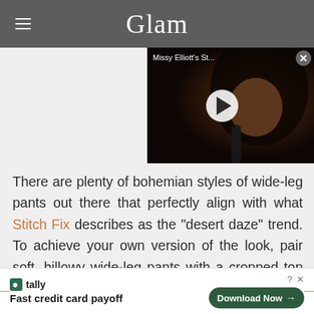Glam
[Figure (screenshot): Video thumbnail of Missy Elliott's St... with play button overlay showing a performer on stage]
There are plenty of bohemian styles of wide-leg pants out there that perfectly align with what Stitch Fix describes as the "desert daze" trend. To achieve your own version of the look, pair soft, billowy wide-leg pants with a cropped top in a floral pattern, just like in the above photo from Instagram.
[Figure (screenshot): Advertisement banner for Tally app - Fast credit card payoff with Download Now button]